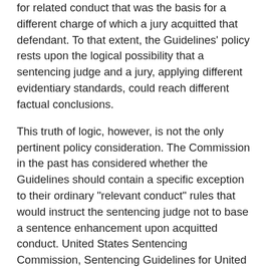for related conduct that was the basis for a different charge of which a jury acquitted that defendant. To that extent, the Guidelines' policy rests upon the logical possibility that a sentencing judge and a jury, applying different evidentiary standards, could reach different factual conclusions.
This truth of logic, however, is not the only pertinent policy consideration. The Commission in the past has considered whether the Guidelines should contain a specific exception to their ordinary "relevant conduct" rules that would instruct the sentencing judge not to base a sentence enhancement upon acquitted conduct. United States Sentencing Commission, Sentencing Guidelines for United States Courts, 57 Fed. Reg. 62832 (1992) (proposed USSG Section(s) 1B1.3(c)). Given the role that juries and acquittals play in our system, the Commission could decide to revisit this matter in the future. For this reason, I think it important to specify that, as far as today's decision is concerned, the power to accept